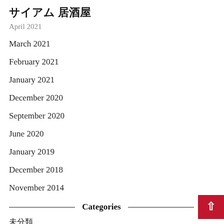サイアム 居酒屋
April 2021
March 2021
February 2021
January 2021
December 2020
September 2020
June 2020
January 2019
December 2018
November 2014
Categories
未分類